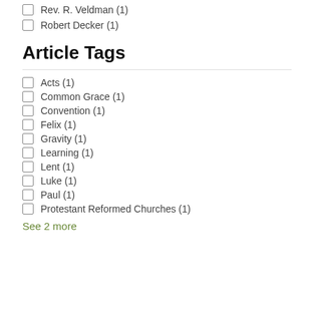Rev. R. Veldman (1)
Robert Decker (1)
Article Tags
Acts (1)
Common Grace (1)
Convention (1)
Felix (1)
Gravity (1)
Learning (1)
Lent (1)
Luke (1)
Paul (1)
Protestant Reformed Churches (1)
See 2 more